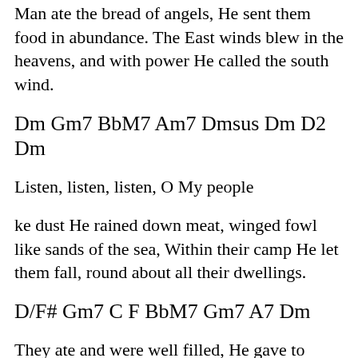Man ate the bread of angels, He sent them food in abundance. The East winds blew in the heavens, and with power He called the south wind.
Dm Gm7 BbM7 Am7 Dmsus Dm D2 Dm
Listen, listen, listen, O My people
ke dust He rained down meat, winged fowl like sands of the sea, Within their camp He let them fall, round about all their dwellings.
D/F# Gm7 C F BbM7 Gm7 A7 Dm
They ate and were well filled, He gave to